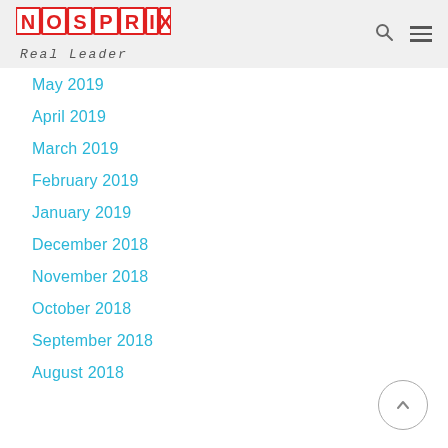NOSPRIX Real Leader
May 2019
April 2019
March 2019
February 2019
January 2019
December 2018
November 2018
October 2018
September 2018
August 2018